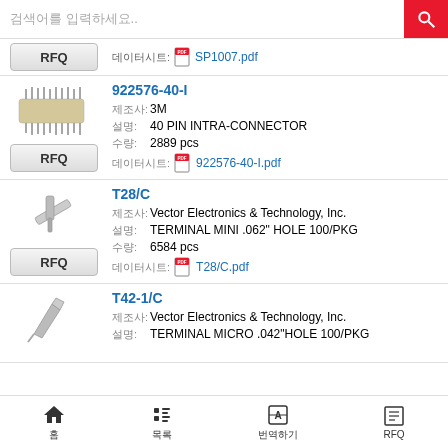[Figure (screenshot): Search bar with text input and red search button]
SP1007.pdf - RFQ item with datasheet link
922576-40-I, Maker: 3M, Description: 40 PIN INTRA-CONNECTOR, Qty: 2889 pcs, Datasheet: 922576-40-I.pdf
T28/C, Maker: Vector Electronics & Technology, Inc., Description: TERMINAL MINI .062" HOLE 100/PKG, Qty: 6584 pcs, Datasheet: T28/C.pdf
T42-1/C, Maker: Vector Electronics & Technology, Inc., Description: TERMINAL MICRO .042"HOLE 100/PKG
홈  목록  번역하기  RFQ